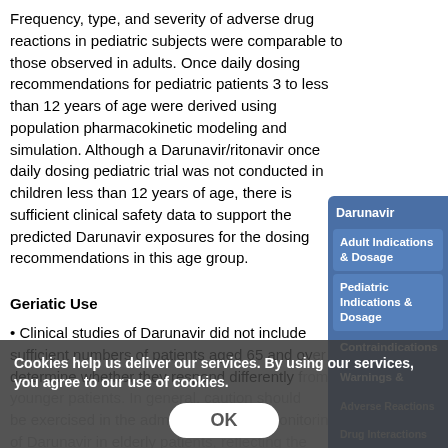Frequency, type, and severity of adverse drug reactions in pediatric subjects were comparable to those observed in adults. Once daily dosing recommendations for pediatric patients 3 to less than 12 years of age were derived using population pharmacokinetic modeling and simulation. Although a Darunavir/ritonavir once daily dosing pediatric trial was not conducted in children less than 12 years of age, there is sufficient clinical safety data to support the predicted Darunavir exposures for the dosing recommendations in this age group.
Geriatic Use
• Clinical studies of Darunavir did not include sufficient numbers of patients aged 65 and over to determine whether they respond differently from younger patients. In general, caution should be exercised in the administration and monitoring of Darunavir in elderly patients, reflecting the greater frequency of decreased hepatic functio...
[Figure (other): Sidebar navigation menu for Darunavir drug information with links: Adult Indications & Dosage, Pediatric Indications & Dosage, Contraindications, Warnings & [Precautions], Adverse Reactions, Drug Interactions]
Cookies help us deliver our services. By using our services, you agree to our use of cookies. [OK button]